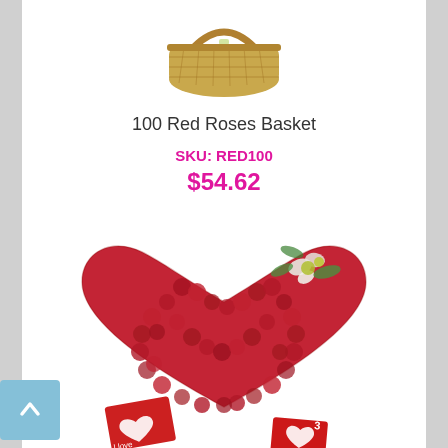[Figure (photo): Wicker basket product photo, partially visible at top of first product card]
100 Red Roses Basket
SKU: RED100
$54.62
[Figure (photo): Heart-shaped arrangement of red roses with white flowers and a greeting card with a heart cutout, with an 'I love' card at the bottom]